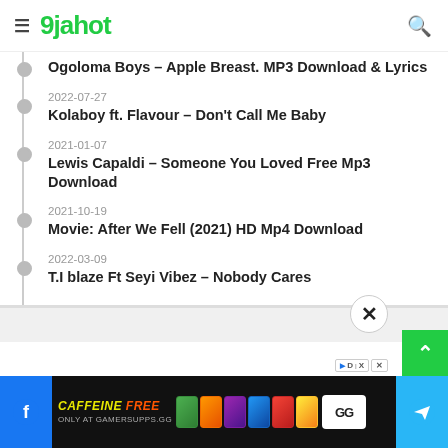9jahot
Ogoloma Boys – Apple Breast. MP3 Download & Lyrics
2022-07-27
Kolaboy ft. Flavour – Don't Call Me Baby
2021-01-07
Lewis Capaldi – Someone You Loved Free Mp3 Download
2021-10-19
Movie: After We Fell (2021) HD Mp4 Download
2022-03-09
T.I blaze Ft Seyi Vibez – Nobody Cares
[Figure (screenshot): Advertisement banner: CAFFEINE FREE ONLY AT GAMERSUPPS.GG with colorful cans and logo, Facebook and Telegram share buttons on sides]